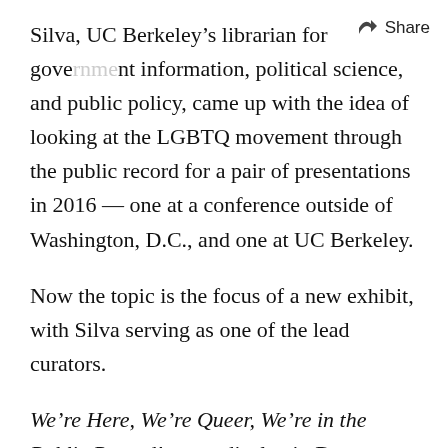Silva, UC Berkeley’s librarian for government information, political science, and public policy, came up with the idea of looking at the LGBTQ movement through the public record for a pair of presentations in 2016 — one at a conference outside of Washington, D.C., and one at UC Berkeley.
Now the topic is the focus of a new exhibit, with Silva serving as one of the lead curators.
We’re Here, We’re Queer, We’re in the Public Record! — on display in Doe Library’s Brown